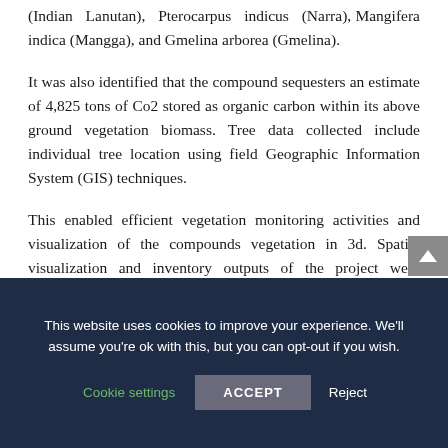(Indian Lanutan), Pterocarpus indicus (Narra), Mangifera indica (Mangga), and Gmelina arborea (Gmelina).
It was also identified that the compound sequesters an estimate of 4,825 tons of Co2 stored as organic carbon within its above ground vegetation biomass. Tree data collected include individual tree location using field Geographic Information System (GIS) techniques.
This enabled efficient vegetation monitoring activities and visualization of the compounds vegetation in 3d. Spatial visualization and inventory outputs of the project were compiled into a book
This website uses cookies to improve your experience. We'll assume you're ok with this, but you can opt-out if you wish.
Cookie settings   ACCEPT   Reject